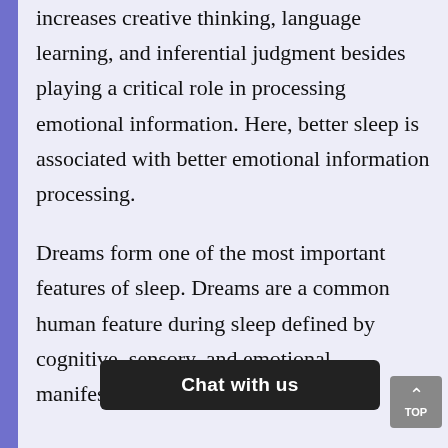increases creative thinking, language learning, and inferential judgment besides playing a critical role in processing emotional information. Here, better sleep is associated with better emotional information processing.
Dreams form one of the most important features of sleep. Dreams are a common human feature during sleep defined by cognitive, sensory, and emotional manifestations. Sigmu... ...st